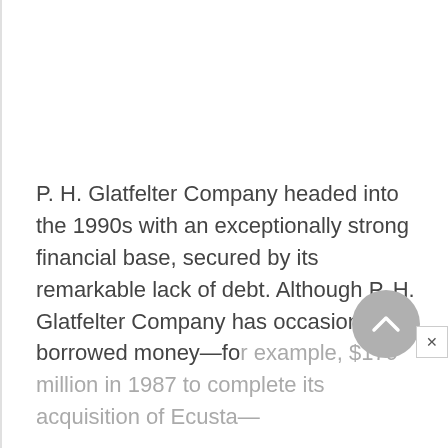P. H. Glatfelter Company headed into the 1990s with an exceptionally strong financial base, secured by its remarkable lack of debt. Although P. H. Glatfelter Company has occasionally borrowed money—for example, $179 million in 1987 to complete its acquisition of Ecusta—